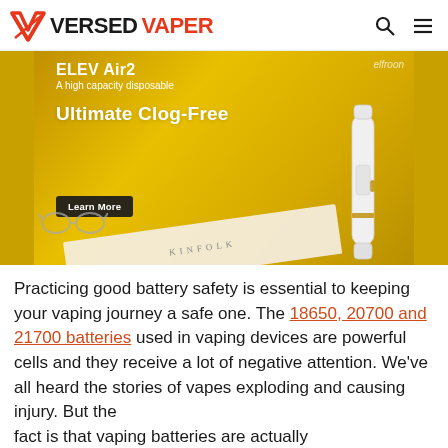VERSED VAPER
[Figure (photo): Advertisement banner for ELEV Air2, a high capacity disposable vape. Yellow/golden background with white vape device, glasses, and a Kinfolk book. Text reads: ELEV Air2, A high capacity disposable, Ultimate Clog-Free, Learn More button.]
Practicing good battery safety is essential to keeping your vaping journey a safe one. The 18650, 20700 and 21700 batteries used in vaping devices are powerful cells and they receive a lot of negative attention. We've all heard the stories of vapes exploding and causing injury. But the fact is that vaping batteries are actually